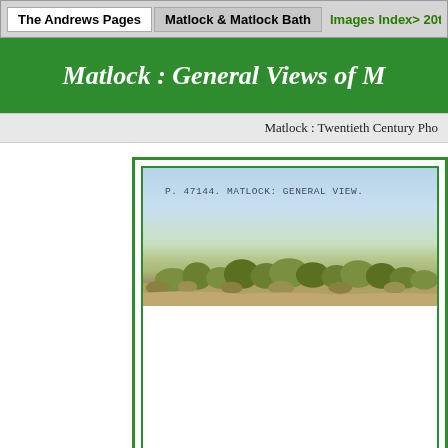The Andrews Pages | Matlock & Matlock Bath | Images Index> 20th
Matlock : General Views of M
Matlock : Twentieth Century Pho
[Figure (photo): Old postcard photograph labeled 'P.47144. MATLOCK: GENERAL VIEW.' showing a panoramic landscape view of Matlock with trees along a hillside against a light sky]